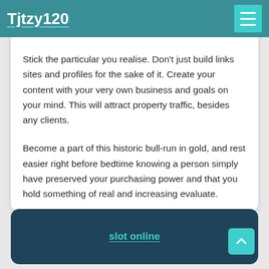Tjtzy120
Stick the particular you realise. Don't just build links sites and profiles for the sake of it. Create your content with your very own business and goals on your mind. This will attract property traffic, besides any clients.
Become a part of this historic bull-run in gold, and rest easier right before bedtime knowing a person simply have preserved your purchasing power and that you hold something of real and increasing evaluate.
slot online